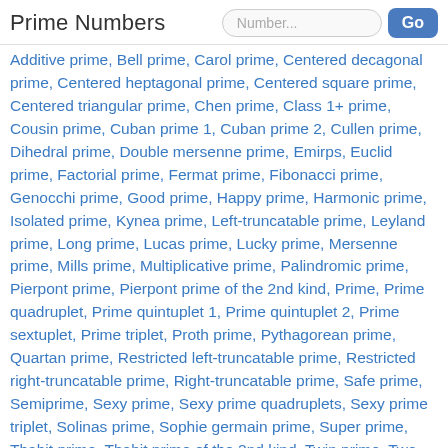Prime Numbers
Additive prime, Bell prime, Carol prime, Centered decagonal prime, Centered heptagonal prime, Centered square prime, Centered triangular prime, Chen prime, Class 1+ prime, Cousin prime, Cuban prime 1, Cuban prime 2, Cullen prime, Dihedral prime, Double mersenne prime, Emirps, Euclid prime, Factorial prime, Fermat prime, Fibonacci prime, Genocchi prime, Good prime, Happy prime, Harmonic prime, Isolated prime, Kynea prime, Left-truncatable prime, Leyland prime, Long prime, Lucas prime, Lucky prime, Mersenne prime, Mills prime, Multiplicative prime, Palindromic prime, Pierpont prime, Pierpont prime of the 2nd kind, Prime, Prime quadruplet, Prime quintuplet 1, Prime quintuplet 2, Prime sextuplet, Prime triplet, Proth prime, Pythagorean prime, Quartan prime, Restricted left-truncatable prime, Restricted right-truncatable prime, Right-truncatable prime, Safe prime, Semiprime, Sexy prime, Sexy prime quadruplets, Sexy prime triplet, Solinas prime, Sophie germain prime, Super prime, Thabit prime, Thabit prime of the 2nd kind, Twin prime, Two-sided prime, Ulam prime, Wagstaff prime, Weakly prime, Wedderburn-etherington prime, Wilson prime, Woodall prime